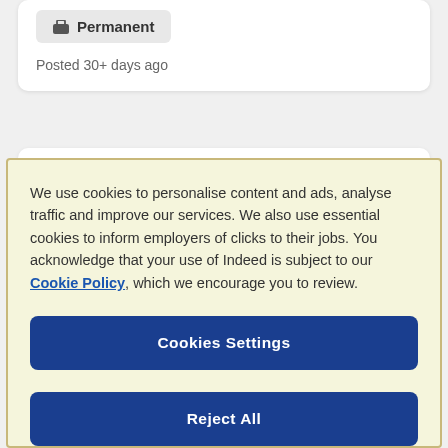Hybrid remote in Dublin, County Dublin
Permanent
Posted 30+ days ago
We use cookies to personalise content and ads, analyse traffic and improve our services. We also use essential cookies to inform employers of clicks to their jobs. You acknowledge that your use of Indeed is subject to our Cookie Policy, which we encourage you to review.
Cookies Settings
Reject All
Accept All Cookies